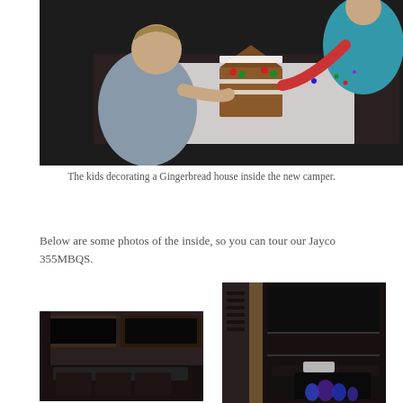[Figure (photo): Two children decorating a gingerbread house on a table inside a camper. One child in gray shirt leaning forward, another child in red and gray across the table. Dark background.]
The kids decorating a Gingerbread house inside the new camper.
Below are some photos of the inside, so you can tour our Jayco 355MBQS.
[Figure (photo): Interior of camper showing dark leather seating, entertainment center with TV, and dark wood cabinetry.]
[Figure (photo): Interior of camper showing dark leather couch, electric fireplace with blue/purple flame, and dark entertainment unit.]